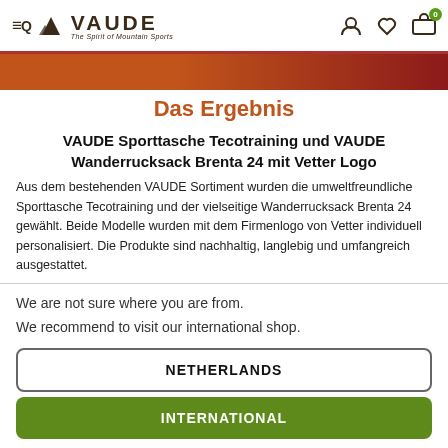VAUDE — The Spirit of Mountain Sports
Das Ergebnis
VAUDE Sporttasche Tecotraining und VAUDE Wanderrucksack Brenta 24 mit Vetter Logo
Aus dem bestehenden VAUDE Sortiment wurden die umweltfreundliche Sporttasche Tecotraining und der vielseitige Wanderrucksack Brenta 24 gewählt. Beide Modelle wurden mit dem Firmenlogo von Vetter individuell personalisiert. Die Produkte sind nachhaltig, langlebig und umfangreich ausgestattet.
We are not sure where you are from.
We recommend to visit our international shop.
NETHERLANDS
INTERNATIONAL